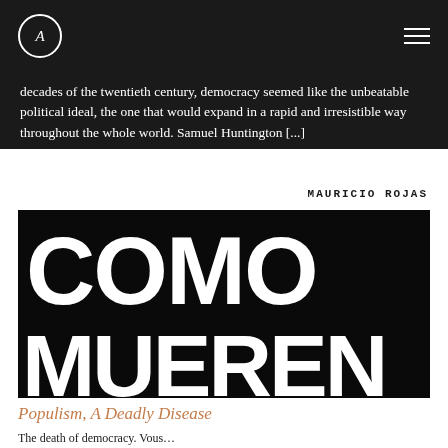A [logo] — navigation menu
decades of the twentieth century, democracy seemed like the unbeatable political ideal, the one that would expand in a rapid and irresistible way throughout the whole world. Samuel Huntington [...]
MAURICIO ROJAS
[Figure (illustration): Book cover image showing large bold white text 'COMO MUEREN' on black background. Top row shows partial letters 'C O M O', bottom row shows 'M U E R E N'.]
Populism, A Deadly Disease
The death of democracy. Vous...